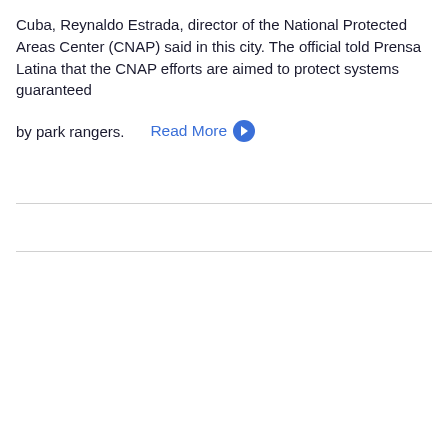Cuba, Reynaldo Estrada, director of the National Protected Areas Center (CNAP) said in this city. The official told Prensa Latina that the CNAP efforts are aimed to protect systems guaranteed by park rangers. Read More →